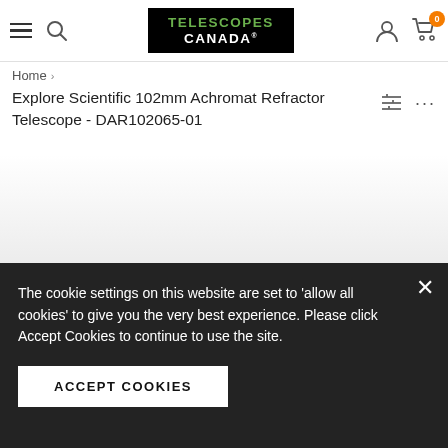Telescopes Canada
Home > Explore Scientific 102mm Achromat Refractor Telescope - DAR102065-01
Explore Scientific 102mm Achromat Refractor Telescope - DAR102065-01
[Figure (photo): Black telescope (Explore Scientific 102mm Achromat Refractor) on dark background]
The cookie settings on this website are set to 'allow all cookies' to give you the very best experience. Please click Accept Cookies to continue to use the site.
ACCEPT COOKIES